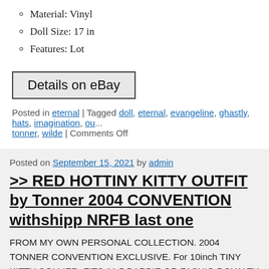Material: Vinyl
Doll Size: 17 in
Features: Lot
[Figure (other): Details on eBay button - a rectangular button with border and light gray background]
Posted in eternal | Tagged doll, eternal, evangeline, ghastly, hats, imagination, ou... tonner, wilde | Comments Off
Posted on September 15, 2021 by admin
>> RED HOTTINY KITTY OUTFIT by Tonner 2004 CONVENTION withshipp NRFB last one
FROM MY OWN PERSONAL COLLECTION. 2004 TONNER CONVENTION EXCLUSIVE. For 10inch TINY KITTY COLLIER. FITS 11.5 BARBIE OR FASHIO ROYALTY DOLL. RED SEQUIN GOWN WITH MERMAID HEMLINE. ALL new pristine in original packaging /w /shipper. ALL SALES ARE FINAL. …